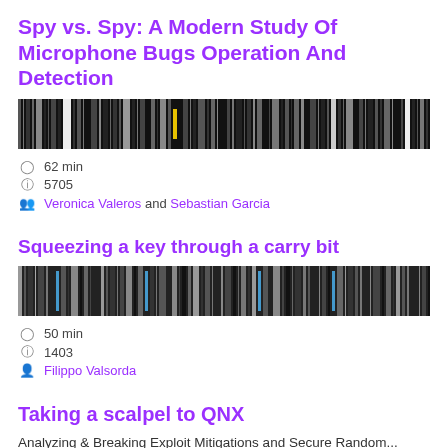Spy vs. Spy: A Modern Study Of Microphone Bugs Operation And Detection
[Figure (screenshot): Barcode-like thumbnail strip for talk video]
62 min
5705
Veronica Valeros and Sebastian Garcia
Squeezing a key through a carry bit
[Figure (screenshot): Barcode-like thumbnail strip for talk video]
50 min
1403
Filippo Valsorda
Taking a scalpel to QNX
Analyzing & Breaking Exploit Mitigations and Secure Random...
[Figure (screenshot): Partial thumbnail strip for talk video]